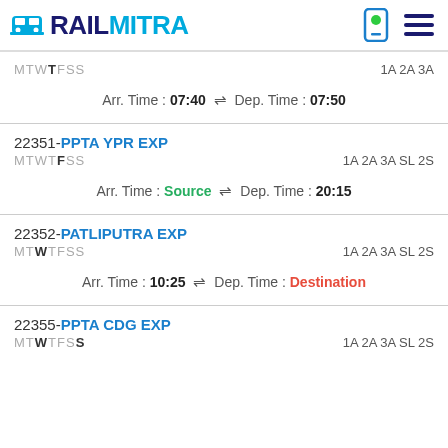RAILMITRA
MTWT F SS   1A 2A 3A
Arr. Time : 07:40 ⇌ Dep. Time : 07:50
22351-PPTA YPR EXP
MTWT F SS   1A 2A 3A SL 2S
Arr. Time : Source ⇌ Dep. Time : 20:15
22352-PATLIPUTRA EXP
MT W TFSS   1A 2A 3A SL 2S
Arr. Time : 10:25 ⇌ Dep. Time : Destination
22355-PPTA CDG EXP
MT W TFS S   1A 2A 3A SL 2S